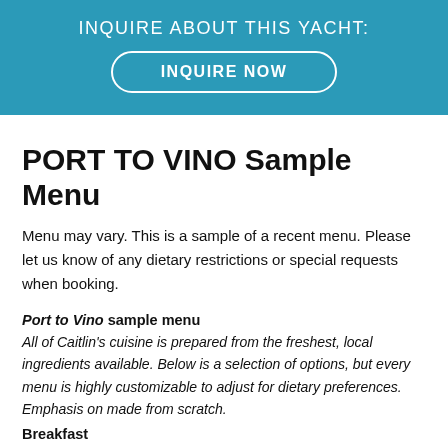INQUIRE ABOUT THIS YACHT: INQUIRE NOW
PORT TO VINO Sample Menu
Menu may vary. This is a sample of a recent menu. Please let us know of any dietary restrictions or special requests when booking.
Port to Vino sample menu
All of Caitlin's cuisine is prepared from the freshest, local ingredients available. Below is a selection of options, but every menu is highly customizable to adjust for dietary preferences. Emphasis on made from scratch.
Breakfast